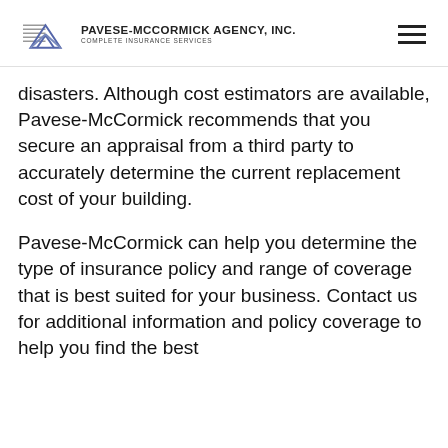Pavese-McCormick Agency, Inc. Complete Insurance Services
disasters. Although cost estimators are available, Pavese-McCormick recommends that you secure an appraisal from a third party to accurately determine the current replacement cost of your building.
Pavese-McCormick can help you determine the type of insurance policy and range of coverage that is best suited for your business. Contact us for additional information and policy coverage to help you find the best